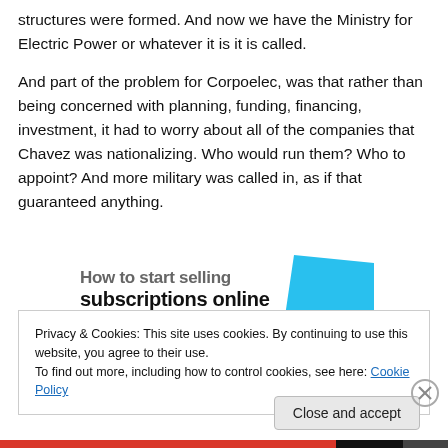structures were formed. And now we have the Ministry for Electric Power or whatever it is it is called.
And part of the problem for Corpoelec, was that rather than being concerned with planning, funding, financing, investment, it had to worry about all of the companies that Chavez was nationalizing. Who would run them? Who to appoint? And more military was called in, as if that guaranteed anything.
[Figure (other): Advertisement banner showing partial text 'How to start selling subscriptions online' with a cyan/light blue geometric shape on the right]
Privacy & Cookies: This site uses cookies. By continuing to use this website, you agree to their use.
To find out more, including how to control cookies, see here: Cookie Policy
Close and accept